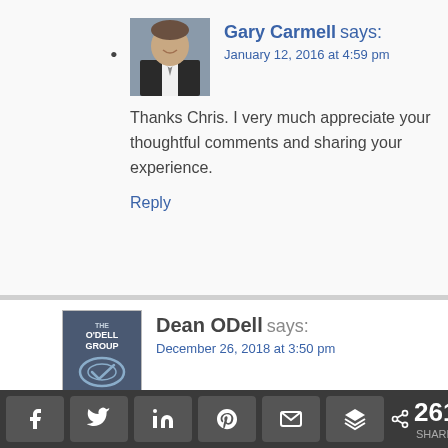Gary Carmell says: January 12, 2016 at 4:59 pm
Thanks Chris. I very much appreciate your thoughtful comments and sharing your experience.
Reply
4. Dean ODell says: December 26, 2018 at 3:50 pm
Good stuff Gary, always enjoy your interpretations and perspective on things.
261 SHARES